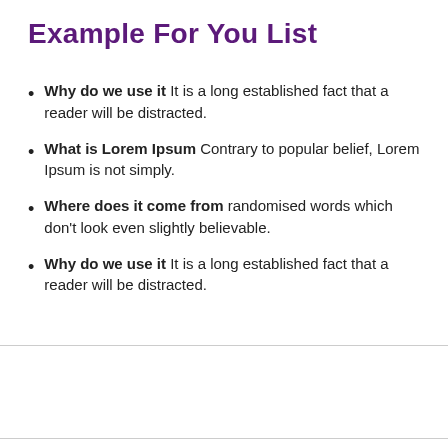Example For You List
Why do we use it It is a long established fact that a reader will be distracted.
What is Lorem Ipsum Contrary to popular belief, Lorem Ipsum is not simply.
Where does it come from randomised words which don’t look even slightly believable.
Why do we use it It is a long established fact that a reader will be distracted.
< PREVIOUS   NEX ^